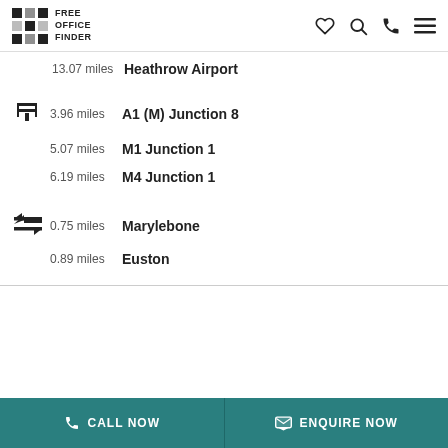FREE OFFICE FINDER
13.07 miles — Heathrow Airport
3.96 miles — A1 (M) Junction 8
5.07 miles — M1 Junction 1
6.19 miles — M4 Junction 1
0.75 miles — Marylebone
0.89 miles — Euston
CALL NOW
ENQUIRE NOW